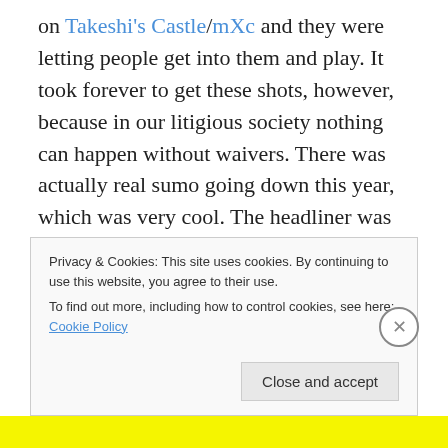on Takeshi's Castle/mXc and they were letting people get into them and play. It took forever to get these shots, however, because in our litigious society nothing can happen without waivers. There was actually real sumo going down this year, which was very cool. The headliner was this fellow who's over 600lbs. and not only does he not need a Rascal, he can kick your ass. I regret that I couldn't last to watch the evening match, most especially because I missed the sumo demo at the St Louis festival last year (or was it the year before?) But man, I was beat. Sunday I could hardly function.
Privacy & Cookies: This site uses cookies. By continuing to use this website, you agree to their use. To find out more, including how to control cookies, see here: Cookie Policy